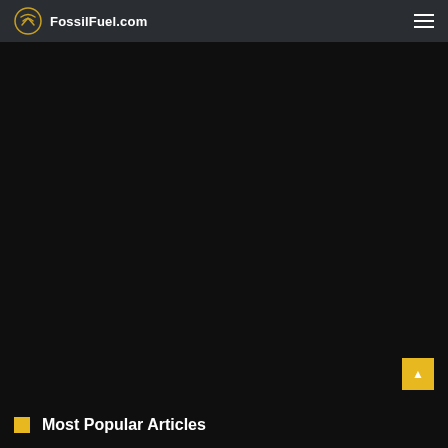FossilFuel.com
[Figure (other): Large dark area, main content region, nearly black background]
Most Popular Articles